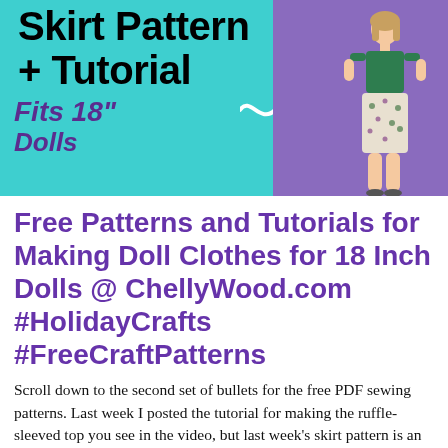[Figure (photo): Banner image with teal background on left showing bold text 'Skirt Pattern + Tutorial' and italic purple text 'Fits 18" Dolls', with a white squiggly arrow pointing right, and a doll wearing a green top and floral skirt on a purple background on the right.]
Free Patterns and Tutorials for Making Doll Clothes for 18 Inch Dolls @ ChellyWood.com #HolidayCrafts #FreeCraftPatterns
Scroll down to the second set of bullets for the free PDF sewing patterns. Last week I posted the tutorial for making the ruffle-sleeved top you see in the video, but last week's skirt pattern is an older one. So today I've got a brand new skirt pattern for you, along with this tutorial showing